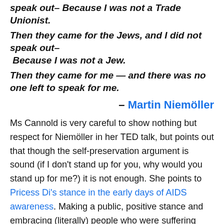speak out– Because I was not a Trade Unionist.
Then they came for the Jews, and I did not speak out– Because I was not a Jew.
Then they came for me — and there was no one left to speak for me.
– Martin Niemöller
Ms Cannold is very careful to show nothing but respect for Niemöller in her TED talk, but points out that though the self-preservation argument is sound (if I don't stand up for you, why would you stand up for me?) it is not enough. She points to Pricess Di's stance in the early days of AIDS awareness. Making a public, positive stance and embracing (literally) people who were suffering from HIV and full-blown AIDS. De-stigmatising the disease and